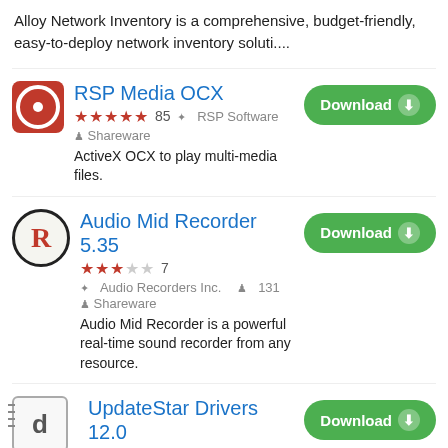Alloy Network Inventory is a comprehensive, budget-friendly, easy-to-deploy network inventory soluti....
RSP Media OCX
★★★★★ 85  ✦ RSP Software  ♟ Shareware
ActiveX OCX to play multi-media files.
Audio Mid Recorder 5.35
★★★☆☆ 7  ✦ Audio Recorders Inc.  ♟ 131  ♟ Shareware
Audio Mid Recorder is a powerful real-time sound recorder from any resource.
UpdateStar Drivers 12.0
★★★★★ 11  ✦ UpdateStar  ♟ 9,563  ♟ Shareware
Update, backup, and restore Windows device drivers.